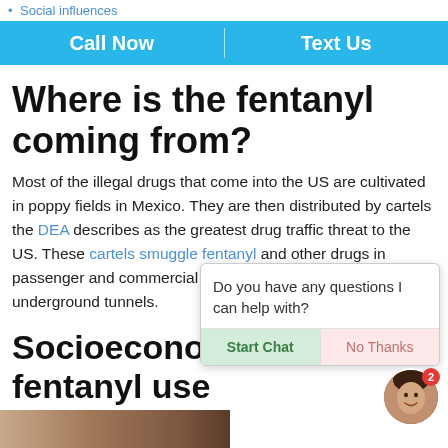Social influences
Call Now | Text Us
Where is the fentanyl coming from?
Most of the illegal drugs that come into the US are cultivated in poppy fields in Mexico. They are then distributed by cartels the DEA describes as the greatest drug traffic threat to the US. These cartels smuggle fentanyl and other drugs in passenger and commercial vehicles and through underground tunnels.
Socioeconomic co... fentanyl use
Do you have any questions I can help with?
Start Chat | No Thanks